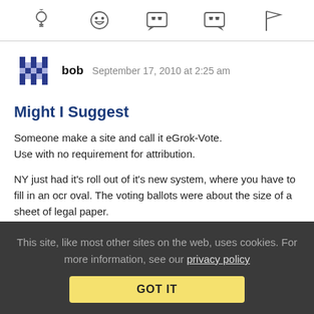[icon toolbar: lightbulb, grinning face, speech bubble left quote, speech bubble right quote, flag]
bob   September 17, 2010 at 2:25 am
Might I Suggest
Someone make a site and call it eGrok-Vote.
Use with no requirement for attribution.
NY just had it's roll out of it's new system, where you have to fill in an ocr oval. The voting ballots were about the size of a sheet of legal paper.
As this was only a primary, there were still lots of problems mostly with the newness about it.
This site, like most other sites on the web, uses cookies. For more information, see our privacy policy
GOT IT